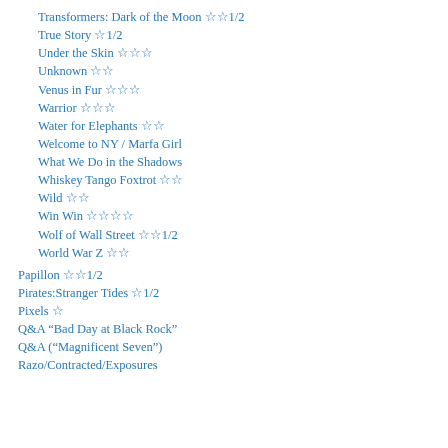Transformers: Dark of the Moon ☆☆1/2
True Story ☆1/2
Under the Skin ☆☆☆
Unknown ☆☆
Venus in Fur ☆☆☆
Warrior ☆☆☆
Water for Elephants ☆☆
Welcome to NY / Marfa Girl
What We Do in the Shadows
Whiskey Tango Foxtrot ☆☆
Wild ☆☆
Win Win ☆☆☆☆
Wolf of Wall Street ☆☆1/2
World War Z ☆☆
Papillon ☆☆1/2
Pirates:Stranger Tides ☆1/2
Pixels ☆
Q&A “Bad Day at Black Rock”
Q&A (“Magnificent Seven”)
Razo/Contracted/Exposures